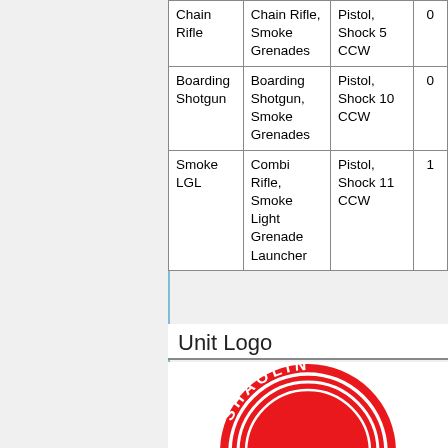|  |  |  |  |
| --- | --- | --- | --- |
| Chain Rifle | Chain Rifle, Smoke Grenades | Pistol, Shock 5 CCW | 0 |
| Boarding Shotgun | Boarding Shotgun, Smoke Grenades | Pistol, Shock 10 CCW | 0 |
| Smoke LGL | Combi Rifle, Smoke Light Grenade Launcher | Pistol, Shock 11 CCW | 1 |
Unit Logo
[Figure (logo): Red circular Shaolin unit logo with white text reading SHAOLIN around the top edge and white arc lines inside]